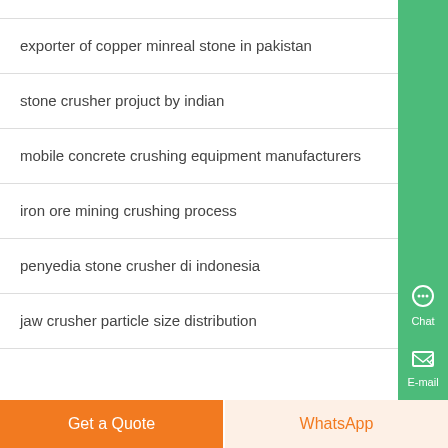exporter of copper minreal stone in pakistan
stone crusher projuct by indian
mobile concrete crushing equipment manufacturers
iron ore mining crushing process
penyedia stone crusher di indonesia
jaw crusher particle size distribution